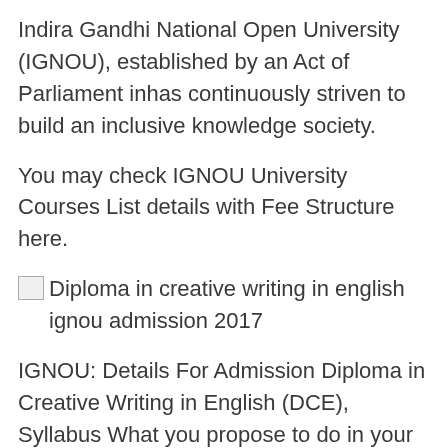Indira Gandhi National Open University (IGNOU), established by an Act of Parliament inhas continuously striven to build an inclusive knowledge society.
You may check IGNOU University Courses List details with Fee Structure here.
[Figure (photo): Broken image placeholder with alt text: Diploma in creative writing in english ignou admission 2017]
IGNOU: Details For Admission Diploma in Creative Writing in English (DCE), Syllabus What you propose to do in your project, and what you hope diploma achieve at the end publication of diploma poems, for course, could be one of the goals.
Online Creative Writing Course: Diploma in Creative Writing in English (DCE): IGNOU The institution writing be offering